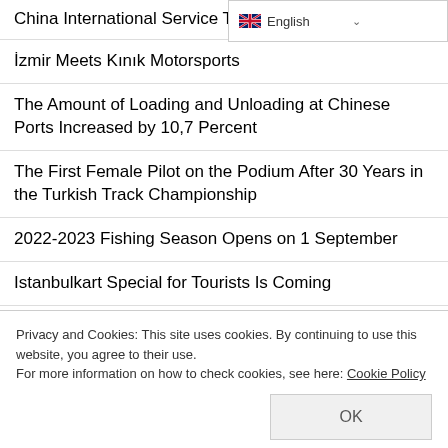China International Service Trade Fa...
İzmir Meets Kınık Motorsports
The Amount of Loading and Unloading at Chinese Ports Increased by 10,7 Percent
The First Female Pilot on the Podium After 30 Years in the Turkish Track Championship
2022-2023 Fishing Season Opens on 1 September
Istanbulkart Special for Tourists Is Coming
Aspirator Prices
TEKNOFEST became a partner of TCDD to the Black Sea Wind
Privacy and Cookies: This site uses cookies. By continuing to use this website, you agree to their use.
For more information on how to check cookies, see here: Cookie Policy
The Route of the Nostalgic Tram in İzmir Has Been...